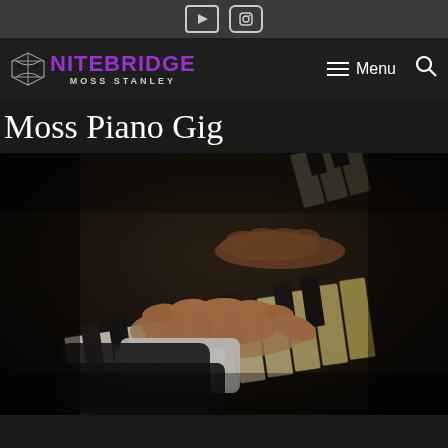YouTube | Instagram
[Figure (logo): Nitebridge Moss Stanley logo with bridge icon]
Menu
Moss Piano Gig
[Figure (photo): Close-up photo of hands playing piano keys in a dark performance setting, pianist wearing a black suit with white shirt cuffs visible]